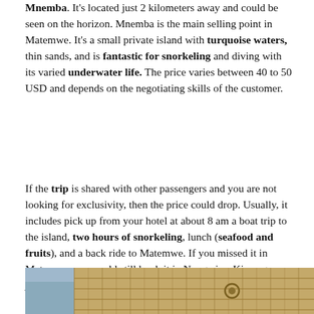Mnemba. It's located just 2 kilometers away and could be seen on the horizon. Mnemba is the main selling point in Matemwe. It's a small private island with turquoise waters, thin sands, and is fantastic for snorkeling and diving with its varied underwater life. The price varies between 40 to 50 USD and depends on the negotiating skills of the customer.
If the trip is shared with other passengers and you are not looking for exclusivity, then the price could drop. Usually, it includes pick up from your hotel at about 8 am a boat trip to the island, two hours of snorkeling, lunch (seafood and fruits), and a back ride to Matemwe. If you missed it in Matemwe, you could still book it in Nungwi or Kiwengwa, just it will take a bit longer to get on Mnemba island.
[Figure (photo): Photo of a thatched roof structure with woven bamboo/palm fronds visible, partial view of a beach or coastal scene underneath]